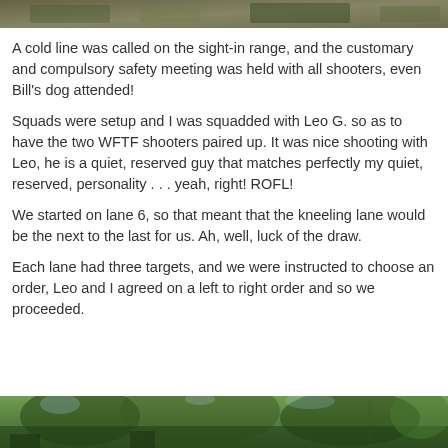[Figure (photo): Outdoor scene, top strip photo showing ground/forest]
A cold line was called on the sight-in range, and the customary and compulsory safety meeting was held with all shooters, even Bill's dog attended!
Squads were setup and I was squadded with Leo G. so as to have the two WFTF shooters paired up. It was nice shooting with Leo, he is a quiet, reserved guy that matches perfectly my quiet, reserved, personality . . . yeah, right! ROFL!
We started on lane 6, so that meant that the kneeling lane would be the next to the last for us. Ah, well, luck of the draw.
Each lane had three targets, and we were instructed to choose an order, Leo and I agreed on a left to right order and so we proceeded.
[Figure (photo): Outdoor forest/trees scene, bottom strip photo]